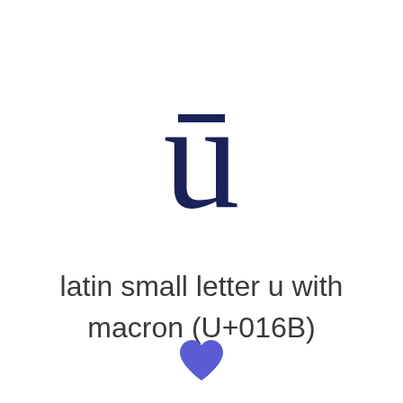[Figure (illustration): Large display of the Unicode character ū (latin small letter u with macron) rendered in dark navy serif font]
latin small letter u with macron (U+016B)
[Figure (illustration): A blue/indigo heart icon]